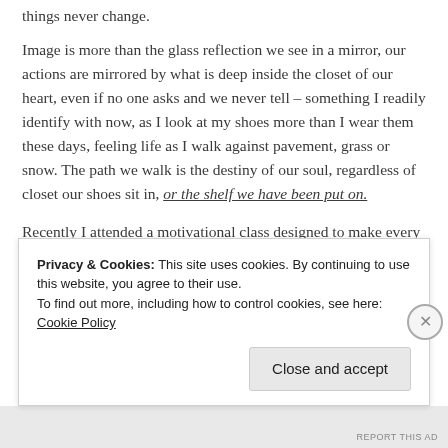things never change.
Image is more than the glass reflection we see in a mirror, our actions are mirrored by what is deep inside the closet of our heart, even if no one asks and we never tell – something I readily identify with now, as I look at my shoes more than I wear them these days, feeling life as I walk against pavement, grass or snow. The path we walk is the destiny of our soul, regardless of closet our shoes sit in, or the shelf we have been put on.
Recently I attended a motivational class designed to make every moment in life matter. The speaker was a wonderful
Privacy & Cookies: This site uses cookies. By continuing to use this website, you agree to their use.
To find out more, including how to control cookies, see here: Cookie Policy
Close and accept